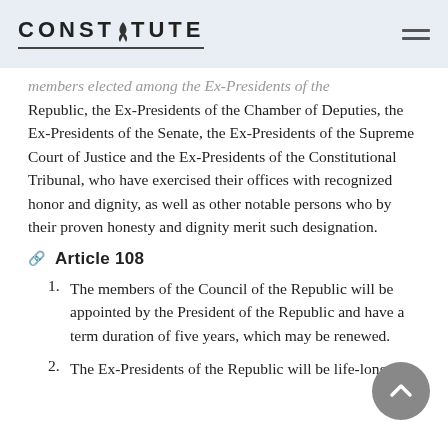CONSTITUTE
members elected among the Ex-Presidents of the Republic, the Ex-Presidents of the Chamber of Deputies, the Ex-Presidents of the Senate, the Ex-Presidents of the Supreme Court of Justice and the Ex-Presidents of the Constitutional Tribunal, who have exercised their offices with recognized honor and dignity, as well as other notable persons who by their proven honesty and dignity merit such designation.
Article 108
The members of the Council of the Republic will be appointed by the President of the Republic and have a term duration of five years, which may be renewed.
The Ex-Presidents of the Republic will be life-long